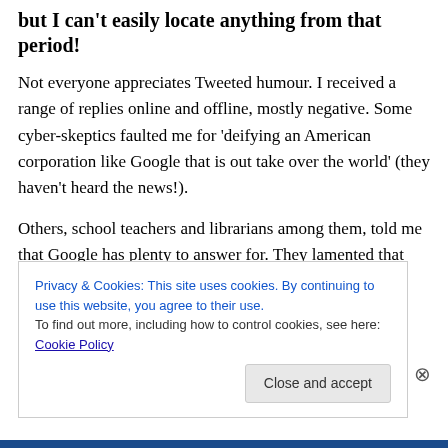but I can't easily locate anything from that period!
Not everyone appreciates Tweeted humour. I received a range of replies online and offline, mostly negative. Some cyber-skeptics faulted me for 'deifying an American corporation like Google that is out take over the world' (they haven't heard the news!).
Others, school teachers and librarians among them, told me that Google has plenty to answer for. They lamented that many people have now forgotten the art and science of looking for a specific piece of information and imagery
Privacy & Cookies: This site uses cookies. By continuing to use this website, you agree to their use.
To find out more, including how to control cookies, see here: Cookie Policy
Close and accept